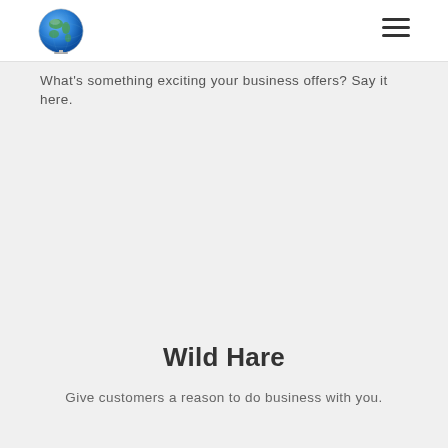[Figure (logo): Globe/earth logo icon in the top-left header area]
[Figure (illustration): Hamburger menu icon (three horizontal lines) in top-right header area]
What's something exciting your business offers? Say it here.
Wild Hare
Give customers a reason to do business with you.